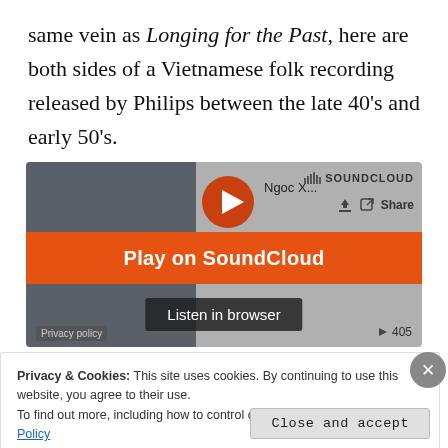same vein as Longing for the Past, here are both sides of a Vietnamese folk recording released by Philips between the late 40's and early 50's.
[Figure (screenshot): SoundCloud embedded player widget showing 'Play on SoundCloud' and 'Listen in browser' buttons, with album art on the left and track info 'Ngoc X...' on the right. Play count shows 405.]
Privacy & Cookies: This site uses cookies. By continuing to use this website, you agree to their use.
To find out more, including how to control cookies, see here: Cookie Policy